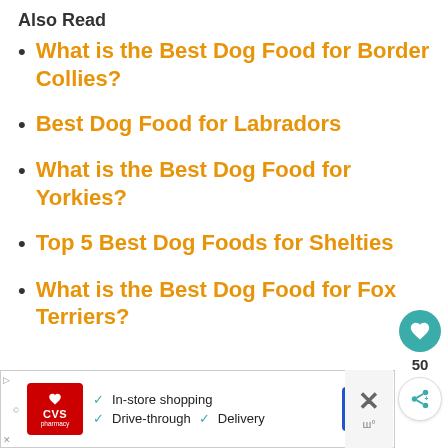Also Read
What is the Best Dog Food for Border Collies?
Best Dog Food for Labradors
What is the Best Dog Food for Yorkies?
Top 5 Best Dog Foods for Shelties
What is the Best Dog Food for Fox Terriers?
[Figure (screenshot): CVS Pharmacy advertisement banner with in-store shopping, drive-through, and delivery options]